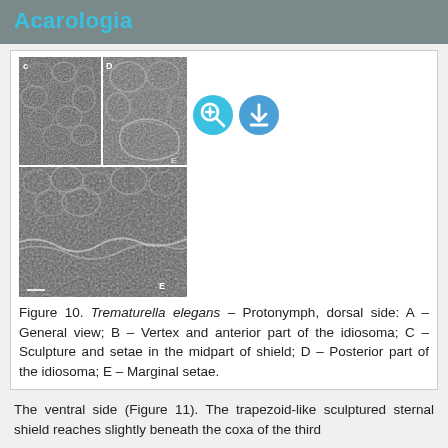Acarologia
[Figure (photo): Scanning electron microscope images of Trematurella elegans protonymph dorsal side. Top row: two panels labeled C and D showing cuticular sculpture and posterior idiosoma. Bottom panel labeled E showing marginal setae.]
Figure 10. Trematurella elegans – Protonymph, dorsal side: A – General view; B – Vertex and anterior part of the idiosoma; C – Sculpture and setae in the midpart of shield; D – Posterior part of the idiosoma; E – Marginal setae.
The ventral side (Figure 11). The trapezoid-like sculptured sternal shield reaches slightly beneath the coxa of the third